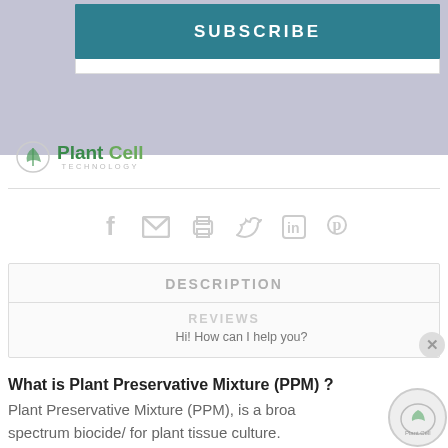[Figure (screenshot): Subscribe banner with teal background and white uppercase SUBSCRIBE text, overlaid on a blurred purple/grey background image]
[Figure (logo): Plant Cell Technology logo with green leaf shield icon and green bold Plant Cell text with grey TECHNOLOGY subtitle]
[Figure (infographic): Social media sharing icons: Facebook, email, print, Twitter, LinkedIn, Pinterest in grey]
DESCRIPTION
REVIEWS
Hi! How can I help you?
What is Plant Preservative Mixture (PPM) ?
Plant Preservative Mixture (PPM), is a broad spectrum biocide/ for plant tissue culture.